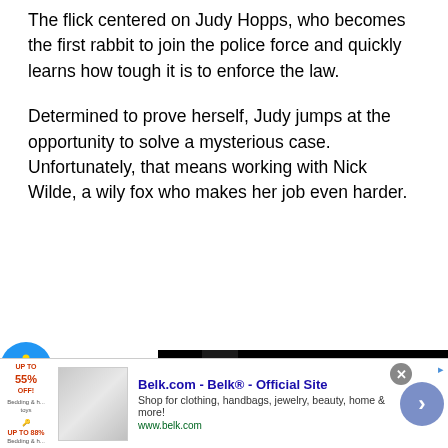The flick centered on Judy Hopps, who becomes the first rabbit to join the police force and quickly learns how tough it is to enforce the law.
Determined to prove herself, Judy jumps at the opportunity to solve a mysterious case. Unfortunately, that means working with Nick Wilde, a wily fox who makes her job even harder.
[Figure (screenshot): Accessibility icon (yellow figure on blue circle) at bottom left, and a dark video player overlay at bottom right with a close X button]
[Figure (screenshot): Advertisement bar at bottom: Belk.com - Belk® - Official Site. Shop for clothing, handbags, jewelry, beauty, home & more! www.belk.com with thumbnail image, close button, and arrow navigation button]